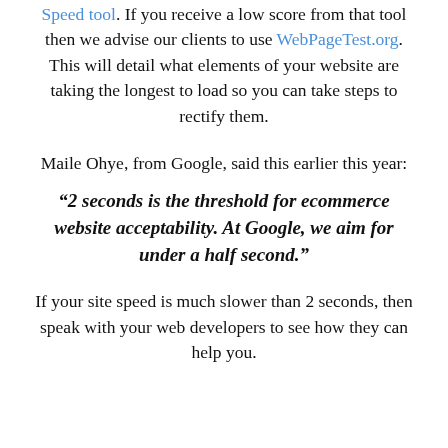Speed tool. If you receive a low score from that tool then we advise our clients to use WebPageTest.org. This will detail what elements of your website are taking the longest to load so you can take steps to rectify them.
Maile Ohye, from Google, said this earlier this year:
“2 seconds is the threshold for ecommerce website acceptability. At Google, we aim for under a half second.”
If your site speed is much slower than 2 seconds, then speak with your web developers to see how they can help you.